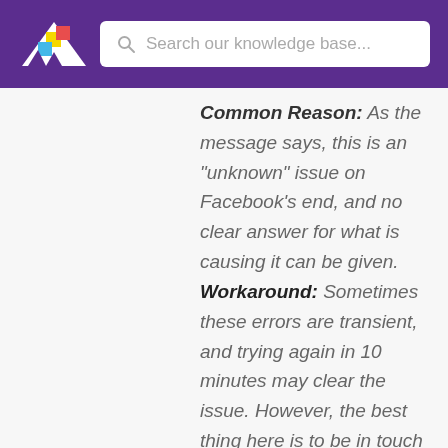Search our knowledge base...
Common Reason: As the message says, this is an "unknown" issue on Facebook's end, and no clear answer for what is causing it can be given. Workaround: Sometimes these errors are transient, and trying again in 10 minutes may clear the issue. However, the best thing here is to be in touch with our support chat (please include the request id), as we may be able to find